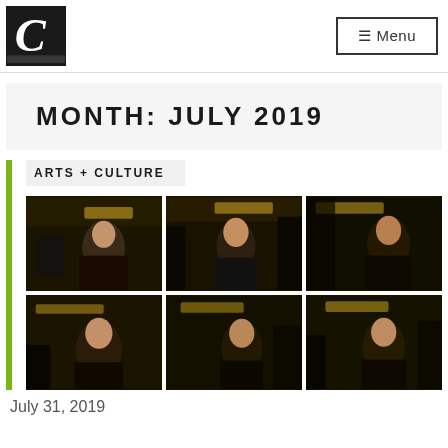Menu
MONTH: JULY 2019
ARTS + CULTURE
[Figure (photo): Grid of 6 dark film stills showing a woman with long dark hair in various poses, shot in a dimly lit room with warm yellow lighting]
July 31, 2019